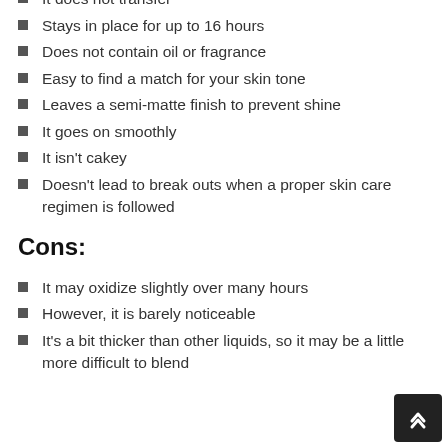Works for oily or combination skin
It does not transfer
Stays in place for up to 16 hours
Does not contain oil or fragrance
Easy to find a match for your skin tone
Leaves a semi-matte finish to prevent shine
It goes on smoothly
It isn't cakey
Doesn't lead to break outs when a proper skin care regimen is followed
Cons:
It may oxidize slightly over many hours
However, it is barely noticeable
It's a bit thicker than other liquids, so it may be a little more difficult to blend